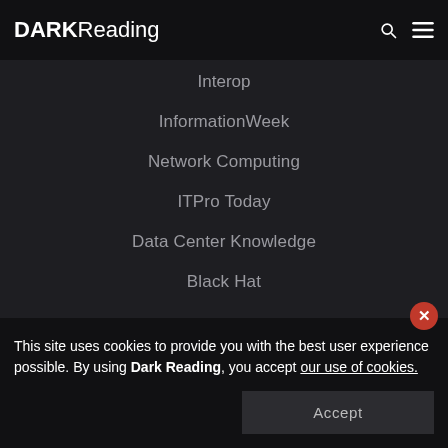DARK Reading
Interop
InformationWeek
Network Computing
ITPro Today
Data Center Knowledge
Black Hat
This site uses cookies to provide you with the best user experience possible. By using Dark Reading, you accept our use of cookies.